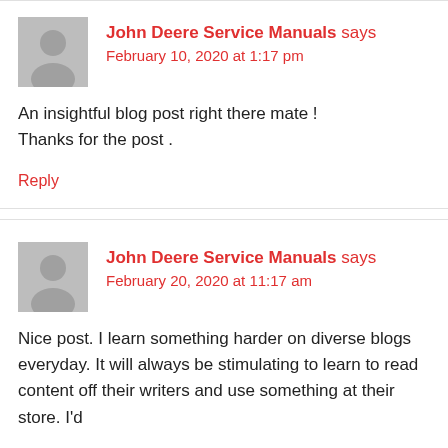John Deere Service Manuals says
February 10, 2020 at 1:17 pm
An insightful blog post right there mate ! Thanks for the post .
Reply
John Deere Service Manuals says
February 20, 2020 at 11:17 am
Nice post. I learn something harder on diverse blogs everyday. It will always be stimulating to learn to read content off their writers and use something at their store. I'd